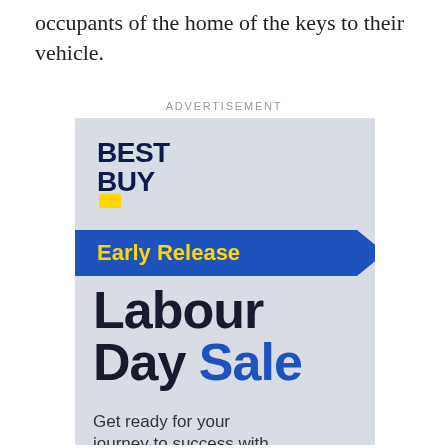occupants of the home of the keys to their vehicle.
ADVERTISEMENT
[Figure (illustration): Best Buy advertisement banner for Early Release Labour Day Sale. Features Best Buy logo with yellow tag, a blue banner reading 'Early Release' in yellow text with an arrow/chevron shape, large dark text reading 'Labour Day' and blue text 'Sale', and body text 'Get ready for your journey to success with']